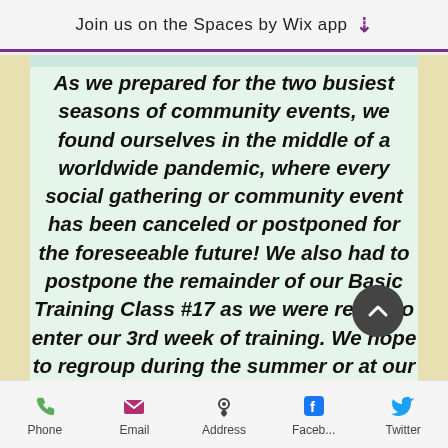Join us on the Spaces by Wix app
As we prepared for the two busiest seasons of community events, we found ourselves in the middle of a worldwide pandemic, where every social gathering or community event has been canceled or postponed for the foreseeable future! We also had to postpone the remainder of our Basic Training Class #17 as we were ready to enter our 3rd week of training. We hope to regroup during the summer or at our regularly scheduled class in September.
Phone  Email  Address  Faceb...  Twitter